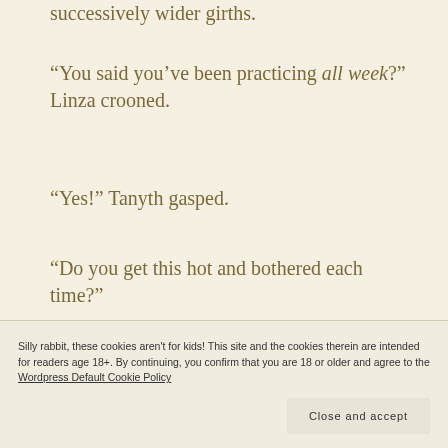successively wider girths.
“You said you’ve been practicing all week?” Linza crooned.
“Yes!” Tanyth gasped.
“Do you get this hot and bothered each time?”
“Y-yes, of c-course I do!”
Silly rabbit, these cookies aren't for kids! This site and the cookies therein are intended for readers age 18+. By continuing, you confirm that you are 18 or older and agree to the Wordpress Default Cookie Policy
Close and accept